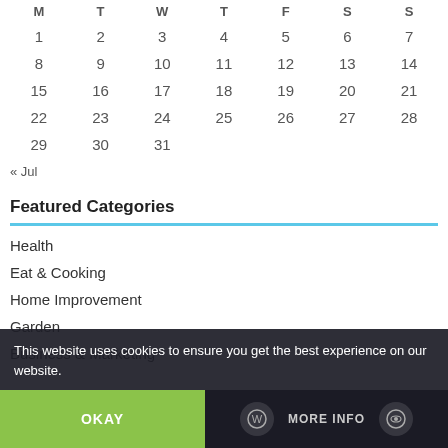| M | T | W | T | F | S | S |
| --- | --- | --- | --- | --- | --- | --- |
| 1 | 2 | 3 | 4 | 5 | 6 | 7 |
| 8 | 9 | 10 | 11 | 12 | 13 | 14 |
| 15 | 16 | 17 | 18 | 19 | 20 | 21 |
| 22 | 23 | 24 | 25 | 26 | 27 | 28 |
| 29 | 30 | 31 |  |  |  |  |
« Jul
Featured Categories
Health
Eat & Cooking
Home Improvement
Garden
Business & Marketing
This website uses cookies to ensure you get the best experience on our website.
OKAY
MORE INFO